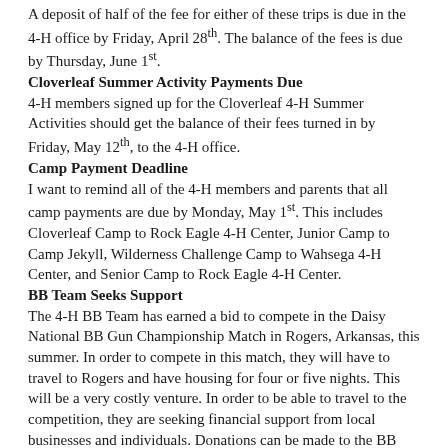A deposit of half of the fee for either of these trips is due in the 4-H office by Friday, April 28th. The balance of the fees is due by Thursday, June 1st.
Cloverleaf Summer Activity Payments Due
4-H members signed up for the Cloverleaf 4-H Summer Activities should get the balance of their fees turned in by Friday, May 12th, to the 4-H office.
Camp Payment Deadline
I want to remind all of the 4-H members and parents that all camp payments are due by Monday, May 1st. This includes Cloverleaf Camp to Rock Eagle 4-H Center, Junior Camp to Camp Jekyll, Wilderness Challenge Camp to Wahsega 4-H Center, and Senior Camp to Rock Eagle 4-H Center.
BB Team Seeks Support
The 4-H BB Team has earned a bid to compete in the Daisy National BB Gun Championship Match in Rogers, Arkansas, this summer. In order to compete in this match, they will have to travel to Rogers and have housing for four or five nights. This will be a very costly venture. In order to be able to travel to the competition, they are seeking financial support from local businesses and individuals. Donations can be made to the BB team by making checks payable to Coffee County Extension / 4-H and mailed to 709 E. Ward Street, Douglas, GA 31533.